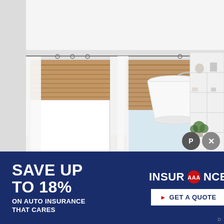[Figure (photo): Interior living room photo showing windows with bamboo Roman shades and white curtains, a white arc floor lamp, and white built-in shelving unit with decorative items and a plant.]
SAVE UP TO 18%
ON AUTO INSURANCE THAT CARES
[Figure (logo): AAA Insurance logo with text INSURANCE where the middle letters are replaced by the AAA badge symbol in red.]
GET A QUOTE